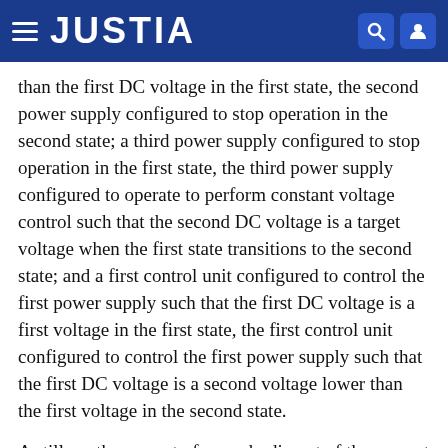JUSTIA
than the first DC voltage in the first state, the second power supply configured to stop operation in the second state; a third power supply configured to stop operation in the first state, the third power supply configured to operate to perform constant voltage control such that the second DC voltage is a target voltage when the first state transitions to the second state; and a first control unit configured to control the first power supply such that the first DC voltage is a first voltage in the first state, the first control unit configured to control the first power supply such that the first DC voltage is a second voltage lower than the first voltage in the second state.
A still another aspect of an embodiment of the present invention is an image forming apparatus including a power supply and an image forming unit configured to